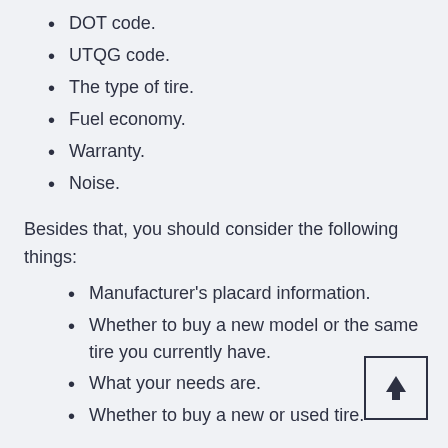DOT code.
UTQG code.
The type of tire.
Fuel economy.
Warranty.
Noise.
Besides that, you should consider the following things:
Manufacturer's placard information.
Whether to buy a new model or the same tire you currently have.
What your needs are.
Whether to buy a new or used tire.